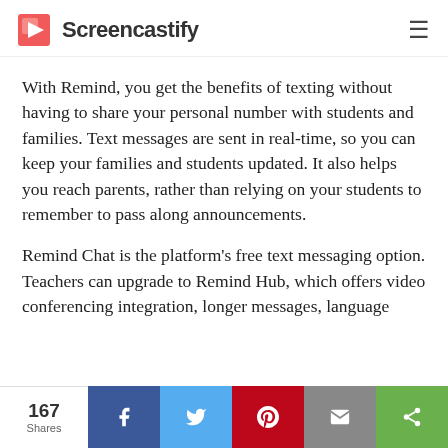Screencastify
With Remind, you get the benefits of texting without having to share your personal number with students and families. Text messages are sent in real-time, so you can keep your families and students updated. It also helps you reach parents, rather than relying on your students to remember to pass along announcements.
Remind Chat is the platform's free text messaging option. Teachers can upgrade to Remind Hub, which offers video conferencing integration, longer messages, language
167 Shares